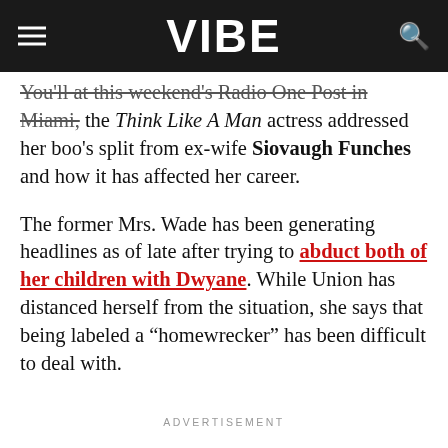VIBE
You’ll at this weekend’s Radio One Post in Miami, the Think Like A Man actress addressed her boo’s split from ex-wife Siovaugh Funches and how it has affected her career.
The former Mrs. Wade has been generating headlines as of late after trying to abduct both of her children with Dwyane. While Union has distanced herself from the situation, she says that being labeled a “homewrecker” has been difficult to deal with.
ADVERTISEMENT